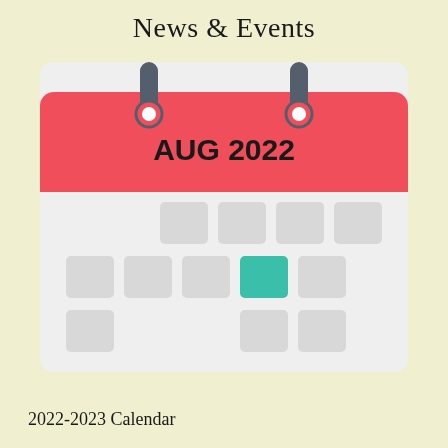News & Events
[Figure (illustration): A flat-style calendar icon showing AUG 2022 in the red header area with two ring binders at the top. The calendar body is light gray with a grid of gray square date boxes and one teal/green highlighted square in the middle-right area.]
2022-2023 Calendar